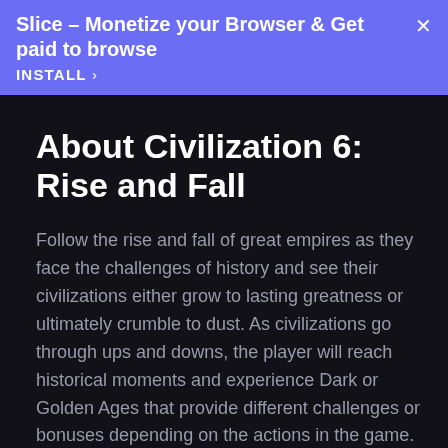Slice – Monetize your Browser & Get paid to browse
INSTALL ›
About Civilization 6: Rise and Fall
Follow the rise and fall of great empires as they face the challenges of history and see their civilizations either grow to lasting greatness or ultimately crumble to dust. As civilizations go through ups and downs, the player will reach historical moments and experience Dark or Golden Ages that provide different challenges or bonuses depending on the actions in the game. Those who successfully survive a Dark Age will then begin a more powerful Golden Age.
...